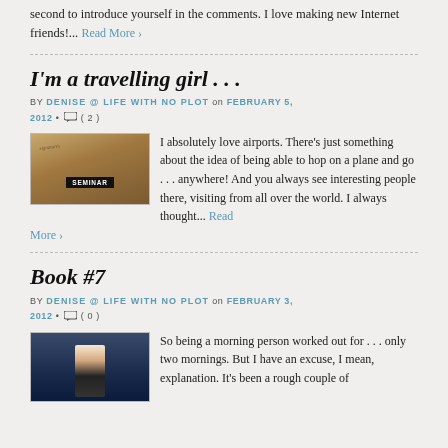second to introduce yourself in the comments. I love making new Internet friends!... Read More ›
I'm a travelling girl . . .
BY DENISE @ LIFE WITH NO PLOT on FEBRUARY 5, 2012 • ◯ ( 2 )
[Figure (photo): Photo of a seminar sign with signatures]
I absolutely love airports. There's just something about the idea of being able to hop on a plane and go . . . anywhere! And you always see interesting people there, visiting from all over the world. I always thought... Read More ›
Book #7
BY DENISE @ LIFE WITH NO PLOT on FEBRUARY 3, 2012 • ◯ ( 0 )
[Figure (photo): Photo of a person standing in a dark setting]
So being a morning person worked out for . . . only two mornings. But I have an excuse, I mean, explanation. It's been a rough couple of